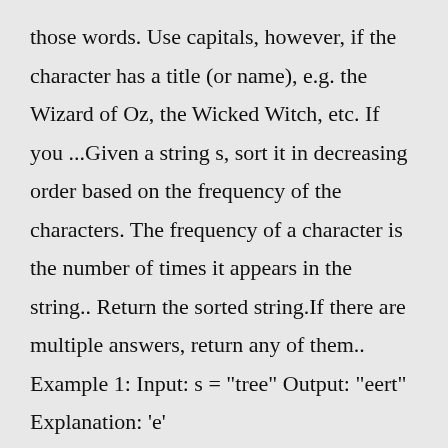those words. Use capitals, however, if the character has a title (or name), e.g. the Wizard of Oz, the Wicked Witch, etc. If you ...Given a string s, sort it in decreasing order based on the frequency of the characters. The frequency of a character is the number of times it appears in the string.. Return the sorted string.If there are multiple answers, return any of them.. Example 1: Input: s = "tree" Output: "eert" Explanation: 'e'